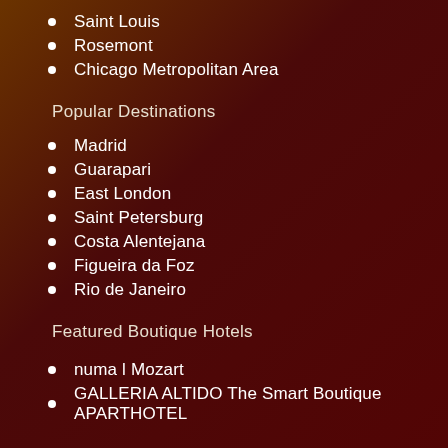Saint Louis
Rosemont
Chicago Metropolitan Area
Popular Destinations
Madrid
Guarapari
East London
Saint Petersburg
Costa Alentejana
Figueira da Foz
Rio de Janeiro
Featured Boutique Hotels
numa l Mozart
GALLERIA ALTIDO The Smart Boutique APARTHOTEL